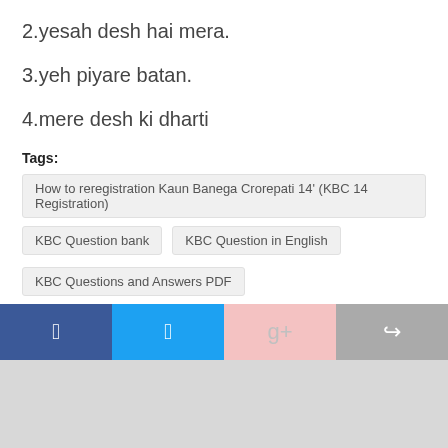2.yesah desh hai mera.
3.yeh piyare batan.
4.mere desh ki dharti
Tags:
How to reregistration Kaun Banega Crorepati 14' (KBC 14 Registration)
KBC Question bank
KBC Question in English
KBC Questions and Answers PDF
Kbc registration 2022 today question
KBC Today question answer